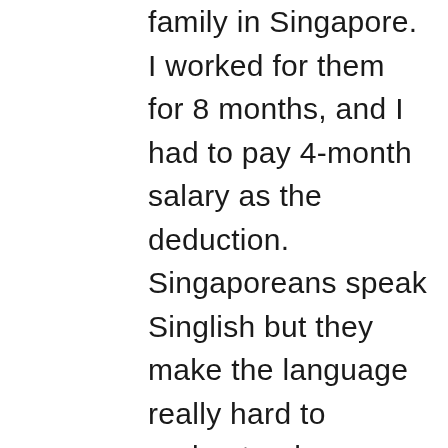family in Singapore. I worked for them for 8 months, and I had to pay 4-month salary as the deduction. Singaporeans speak Singlish but they make the language really hard to understand. Working for the Indian family helped me study English. The employer really took care of my education, which made me realize the importance of the education and learning. I like reading books and they encouraged me to take government courses for domestic helpers in Singapore. ????????????????I used the money I earned to help my sister go to high school. I want her to study as much as possible, a chance